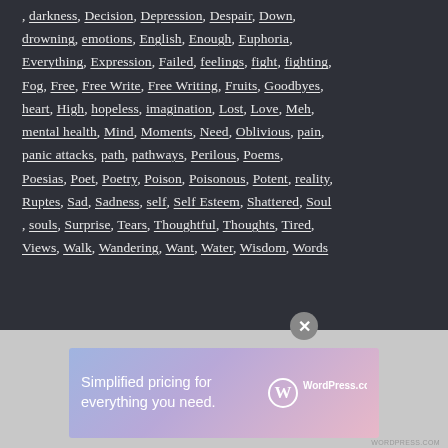, darkness, Decision, Depression, Despair, Down, drowning, emotions, English, Enough, Euphoria, Everything, Expression, Failed, feelings, fight, fighting, Fog, Free, Free Write, Free Writing, Fruits, Goodbyes, heart, High, hopeless, imagination, Lost, Love, Meh, mental health, Mind, Moments, Need, Oblivious, pain, panic attacks, path, pathways, Perilous, Poems, Poesias, Poet, Poetry, Poison, Poisonous, Potent, reality, Ruptes, Sad, Sadness, self, Self Esteem, Shattered, Soul, souls, Surprise, Tears, Thoughtful, Thoughts, Tired, Views, Walk, Wandering, Want, Water, Wisdom, Words
[Figure (other): WordPress.com advertisement banner: 'Simplified pricing for everything you need.' with WordPress.com logo]